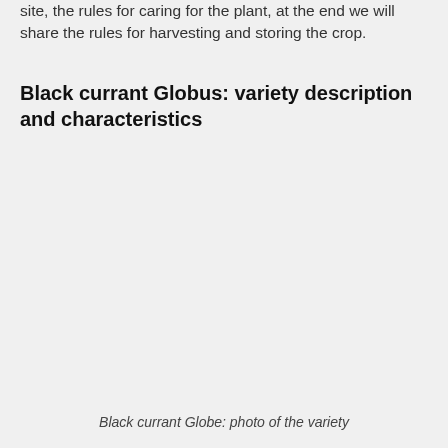site, the rules for caring for the plant, at the end we will share the rules for harvesting and storing the crop.
Black currant Globus: variety description and characteristics
[Figure (photo): Photo of black currant Globe variety (image area appears blank/white in this crop)]
Black currant Globe: photo of the variety